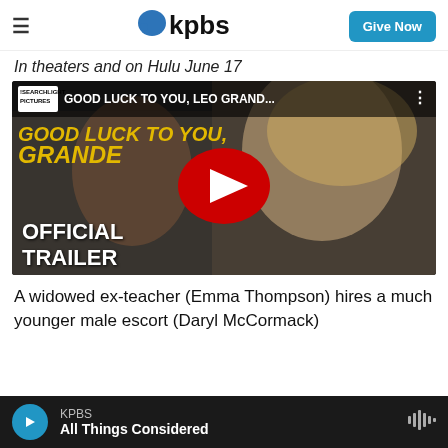≡  kpbs  Give Now
In theaters and on Hulu June 17
[Figure (screenshot): YouTube video thumbnail for 'Good Luck to You, Leo Grande' official trailer, showing two people smiling, with a large red YouTube play button in the center and 'OFFICIAL TRAILER' text in the lower left. Top bar shows Searchlight Pictures logo and video title 'GOOD LUCK TO YOU, LEO GRAND...']
A widowed ex-teacher (Emma Thompson) hires a much younger male escort (Daryl McCormack)
KPBS  All Things Considered